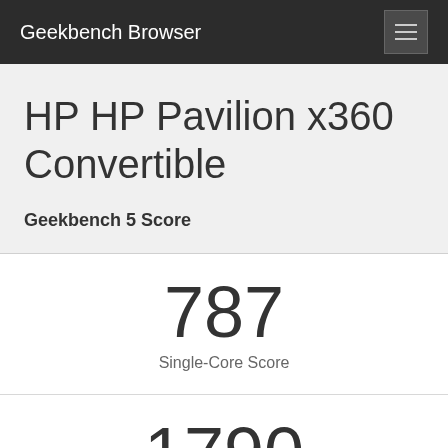Geekbench Browser
HP HP Pavilion x360 Convertible
Geekbench 5 Score
787
Single-Core Score
1790